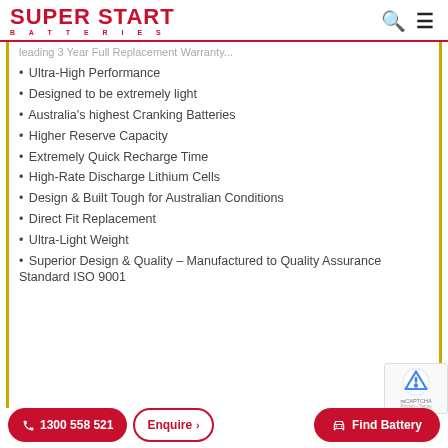SUPER START BATTERIES
leading 3 Year Full Replacement Warranty...
Ultra-High Performance
Designed to be extremely light
Australia's highest Cranking Batteries
Higher Reserve Capacity
Extremely Quick Recharge Time
High-Rate Discharge Lithium Cells
Design & Built Tough for Australian Conditions
Direct Fit Replacement
Ultra-Light Weight
Superior Design & Quality – Manufactured to Quality Assurance Standard ISO 9001
1300 558 521
Find Battery